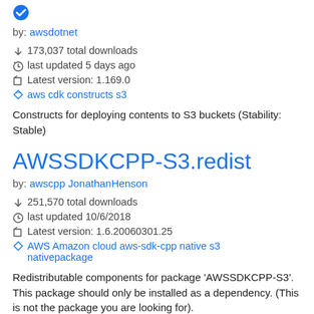by: awsdotnet
173,037 total downloads
last updated 5 days ago
Latest version: 1.169.0
aws cdk constructs s3
Constructs for deploying contents to S3 buckets (Stability: Stable)
AWSSDKCPP-S3.redist
by: awscpp JonathanHenson
251,570 total downloads
last updated 10/6/2018
Latest version: 1.6.20060301.25
AWS Amazon cloud aws-sdk-cpp native s3 nativepackage
Redistributable components for package 'AWSSDKCPP-S3'. This package should only be installed as a dependency. (This is not the package you are looking for).